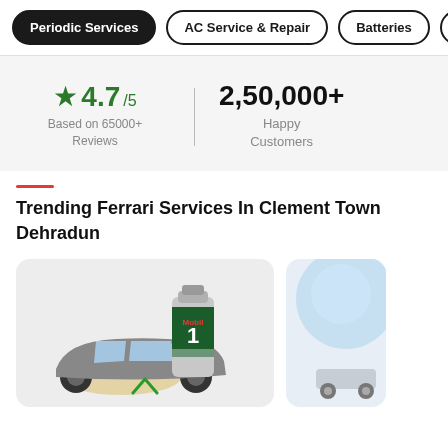Periodic Services | AC Service & Repair | Batteries | Tyr
★ 4.7/5 Based on 65000+ Reviews
2,50,000+ Happy Customers
Trending Ferrari Services In Clement Town Dehradun
[Figure (illustration): Car with Mobil 1 oil bottle and oil splash]
[Figure (illustration): Partially visible service card on the right]